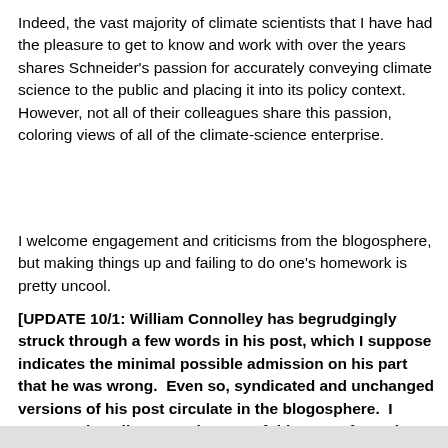Indeed, the vast majority of climate scientists that I have had the pleasure to get to know and work with over the years shares Schneider's passion for accurately conveying climate science to the public and placing it into its policy context. However, not all of their colleagues share this passion, coloring views of all of the climate-science enterprise.
I welcome engagement and criticisms from the blogosphere, but making things up and failing to do one's homework is pretty uncool.
[UPDATE 10/1: William Connolley has begrudgingly struck through a few words in his post, which I suppose indicates the minimal possible admission on his part that he was wrong.  Even so, syndicated and unchanged versions of his post circulate in the blogosphere.  I suspect that I'll see much more of this type of attack based on public discussions of The Climate Fix.]